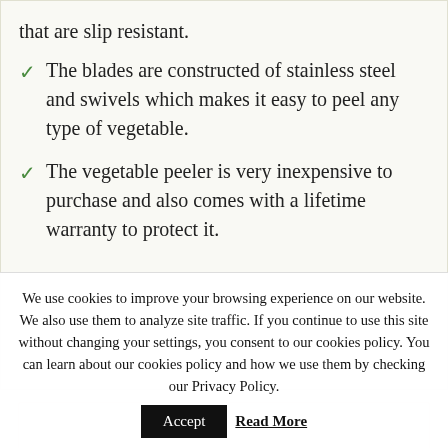that are slip resistant.
The blades are constructed of stainless steel and swivels which makes it easy to peel any type of vegetable.
The vegetable peeler is very inexpensive to purchase and also comes with a lifetime warranty to protect it.
We use cookies to improve your browsing experience on our website. We also use them to analyze site traffic. If you continue to use this site without changing your settings, you consent to our cookies policy. You can learn about our cookies policy and how we use them by checking our Privacy Policy.
Accept
Read More